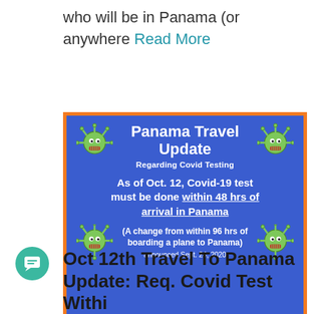who will be in Panama (or anywhere Read More
[Figure (infographic): Panama Travel Update infographic regarding Covid Testing. Blue background with orange border. States: As of Oct. 12, Covid-19 test must be done within 48 hrs of arrival in Panama (A change from within 96 hrs of boarding a plane to Panama) announced Sept. 24, 2020. Four cartoon virus icons in corners.]
Oct 12th Travel To Panama Update: Req. Covid Test Withi...